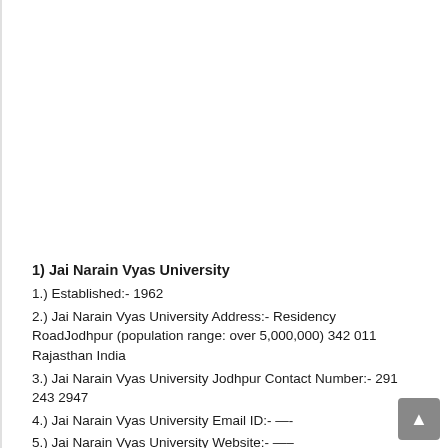1) Jai Narain Vyas University
1.) Established:- 1962
2.) Jai Narain Vyas University Address:- Residency RoadJodhpur (population range: over 5,000,000) 342 011 Rajasthan India
3.) Jai Narain Vyas University Jodhpur Contact Number:- 291 243 2947
4.) Jai Narain Vyas University Email ID:- —-
5.) Jai Narain Vyas University Website:- —–
6.) Jai Narain Vyas University Fees Structure: Starting Fee: